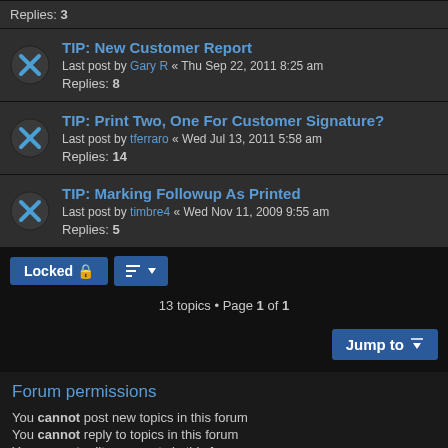Replies: 3
TIP: New Customer Report
Last post by Gary R « Thu Sep 22, 2011 8:25 am
Replies: 8
TIP: Print Two, One For Customer Signature?
Last post by tferraro « Wed Jul 13, 2011 5:58 am
Replies: 14
TIP: Marking Followup As Printed
Last post by timbre4 « Wed Nov 11, 2009 9:55 am
Replies: 5
Locked
13 topics • Page 1 of 1
Jump to
Forum permissions
You cannot post new topics in this forum
You cannot reply to topics in this forum
You cannot edit your posts in this forum
You cannot delete your posts in this forum
You cannot post attachments in this forum